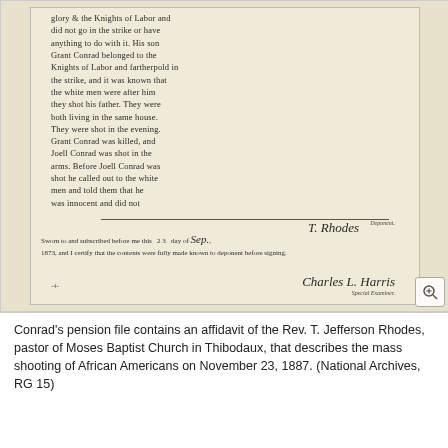[Figure (photo): Scanned handwritten affidavit document on aged paper. The document contains cursive handwriting describing events related to a mass shooting of African Americans. Signed by T. Rhodes (deponent) and Charles L. Harris as Special Examiner. Sworn and subscribed on the 23 day of September, 1873.]
Conrad's pension file contains an affidavit of the Rev. T. Jefferson Rhodes, pastor of Moses Baptist Church in Thibodaux, that describes the mass shooting of African Americans on November 23, 1887. (National Archives, RG 15)